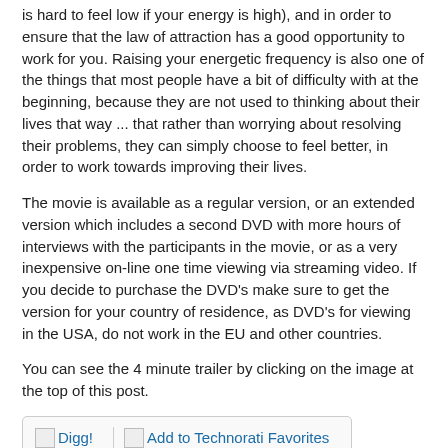is hard to feel low if your energy is high), and in order to ensure that the law of attraction has a good opportunity to work for you. Raising your energetic frequency is also one of the things that most people have a bit of difficulty with at the beginning, because they are not used to thinking about their lives that way ... that rather than worrying about resolving their problems, they can simply choose to feel better, in order to work towards improving their lives.
The movie is available as a regular version, or an extended version which includes a second DVD with more hours of interviews with the participants in the movie, or as a very inexpensive on-line one time viewing via streaming video. If you decide to purchase the DVD's make sure to get the version for your country of residence, as DVD's for viewing in the USA, do not work in the EU and other countries.
You can see the 4 minute trailer by clicking on the image at the top of this post.
[Figure (other): Social sharing bar with Digg and Add to Technorati Favorites icons/links]